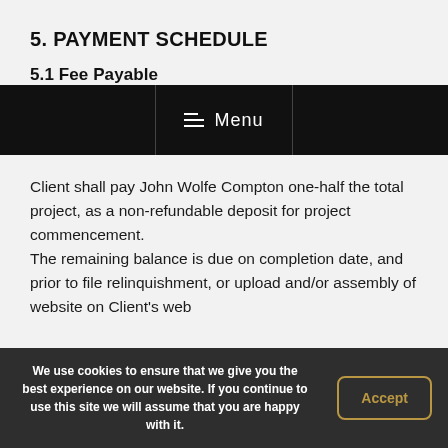5. PAYMENT SCHEDULE
5.1 Fee Payable
[Figure (screenshot): Black navigation bar with menu icon and 'Menu' text, flanked by vertical dividers]
Client shall pay John Wolfe Compton one-half the total project, as a non-refundable deposit for project commencement.
The remaining balance is due on completion date, and prior to file relinquishment, or upload and/or assembly of website on Client's web
We use cookies to ensure that we give you the best experience on our website. If you continue to use this site we will assume that you are happy with it. Accept